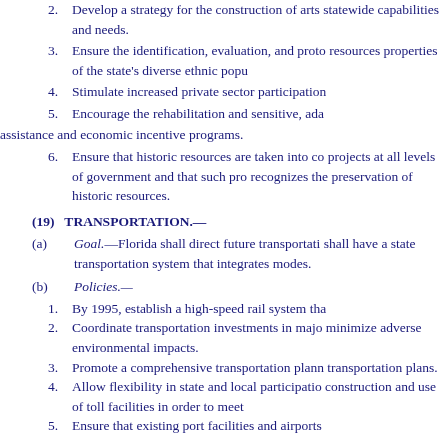2. Develop a strategy for the construction of arts statewide capabilities and needs.
3. Ensure the identification, evaluation, and protection of resources properties of the state's diverse ethnic population.
4. Stimulate increased private sector participation.
5. Encourage the rehabilitation and sensitive, adaptive assistance and economic incentive programs.
6. Ensure that historic resources are taken into consideration in projects at all levels of government and that such programs recognizes the preservation of historic resources.
(19) TRANSPORTATION.—
(a) Goal.—Florida shall direct future transportation investments and shall have a state transportation system that integrates various modes.
(b) Policies.—
1. By 1995, establish a high-speed rail system that...
2. Coordinate transportation investments in major corridors to minimize adverse environmental impacts.
3. Promote a comprehensive transportation planning process and transportation plans.
4. Allow flexibility in state and local participation in the construction and use of toll facilities in order to meet...
5. Ensure that existing port facilities and airports...